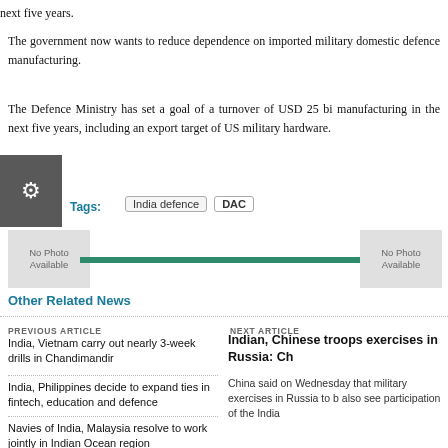next five years.
The government now wants to reduce dependence on imported military domestic defence manufacturing.
The Defence Ministry has set a goal of a turnover of USD 25 bi manufacturing in the next five years, including an export target of US military hardware.
Tags:
India defence   DAC
Other Related News
PREVIOUS ARTICLE
India, Vietnam carry out nearly 3-week drills in Chandimandir
India, Philippines decide to expand ties in fintech, education and defence
Navies of India, Malaysia resolve to work jointly in Indian Ocean region
NEXT ARTICLE
Indian, Chinese troops exercises in Russia: Ch
China said on Wednesday that military exercises in Russia to b also see participation of the India